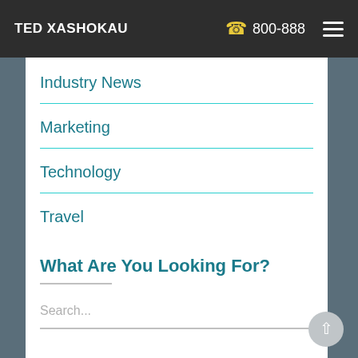TED XASHOKAU   800-888
Industry News
Marketing
Technology
Travel
What Are You Looking For?
Search...